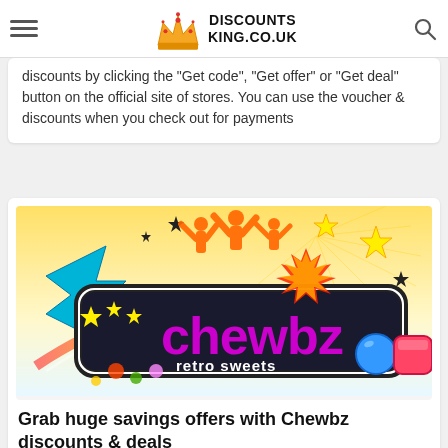DISCOUNTS KING.CO.UK
discounts by clicking the "Get code", "Get offer" or "Get deal" button on the official site of stores. You can use the voucher & discounts when you check out for payments
[Figure (logo): Chewbz retro sweets colorful brand logo with candy and people silhouettes]
Grab huge savings offers with Chewbz discounts & deals
Get the latest valid Chewbz vouchers & discount code. Save more money by using Chewbz voucher code & deals.